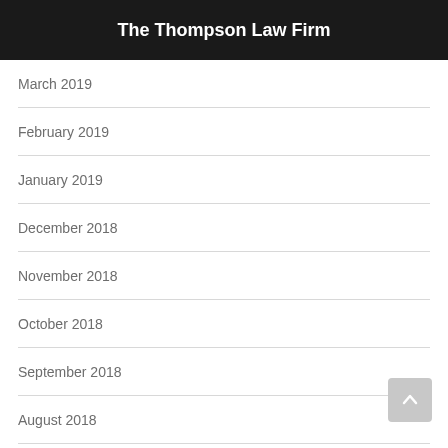The Thompson Law Firm
March 2019
February 2019
January 2019
December 2018
November 2018
October 2018
September 2018
August 2018